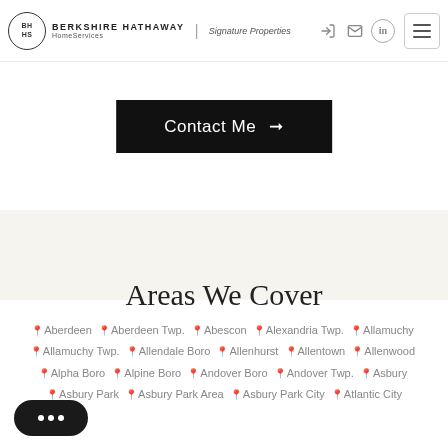Berkshire Hathaway HomeServices | Signature Properties
Contact Me →
Areas We Cover
Aberdeen
Aberdeen Twp.
Abescon
Alexandria Twp.
Allamuchy
Allamuchy Twp.
Allendale Boro
Allenhurst
Allentown
Allenwood
Alpha Boro
Alpine Boro
Andover Boro
Andover Twp.
Asbury
Asbury Park
Asbury Park Area
Asbury Park City
Atlantic City